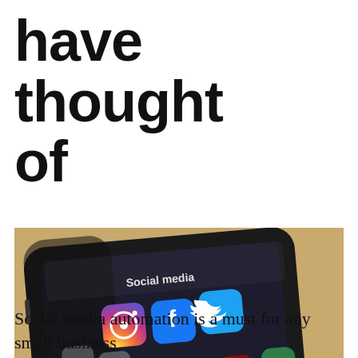have thought of
[Figure (photo): Close-up photograph of a smartphone displaying a 'Social media' folder screen with Instagram, Facebook, and Twitter app icons visible, resting on a wooden surface.]
Social media automation is a must for any small business